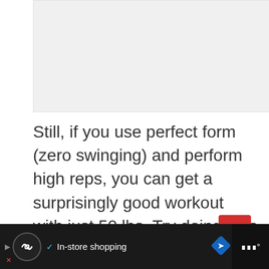[Figure (photo): Light gray placeholder area representing an image at the top of the page]
Still, if you use perfect form (zero swinging) and perform high reps, you can get a surprisingly good workout with just 50 lbs. Try doing sets of 20-30 reps and see what happens to your b...[1]
Ad bar: In-store shopping